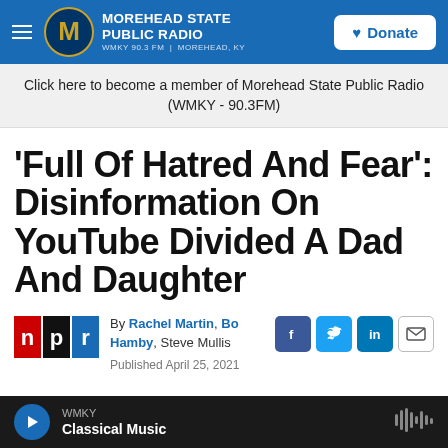MOREHEAD STATE PUBLIC RADIO — WMKY 90.3 FM | MOREHEAD, KY — Donate
Click here to become a member of Morehead State Public Radio (WMKY - 90.3FM)
'Full Of Hatred And Fear': Disinformation On YouTube Divided A Dad And Daughter
By Rachel Martin, Bo Hamby, Steve Mullis
Published April 25, 2021
WMKY Classical Music